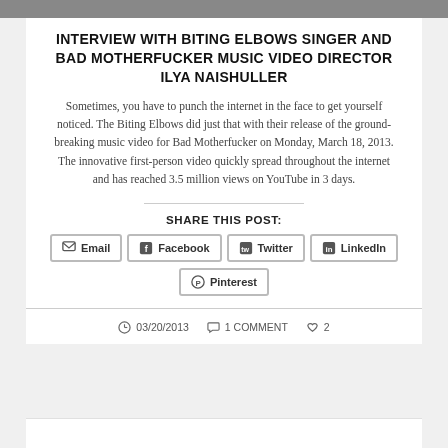INTERVIEW WITH BITING ELBOWS SINGER AND BAD MOTHERFUCKER MUSIC VIDEO DIRECTOR ILYA NAISHULLER
Sometimes, you have to punch the internet in the face to get yourself noticed. The Biting Elbows did just that with their release of the ground-breaking music video for Bad Motherfucker on Monday, March 18, 2013. The innovative first-person video quickly spread throughout the internet and has reached 3.5 million views on YouTube in 3 days.
SHARE THIS POST:
Email
Facebook
Twitter
LinkedIn
Pinterest
03/20/2013  1 COMMENT  2